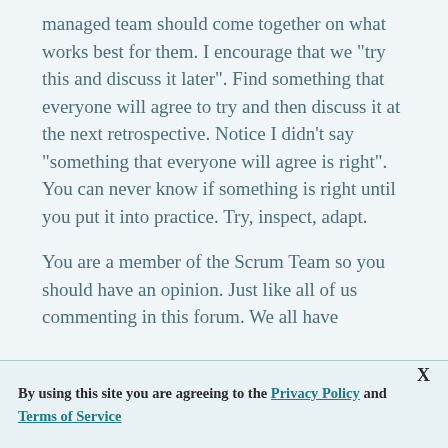managed team should come together on what works best for them.  I encourage that we "try this and discuss it later".  Find something that everyone will agree to try and then discuss it at the next retrospective.  Notice I didn't say "something that everyone will agree is right".  You can never know if something is right until you put it into practice.  Try, inspect, adapt.
You are a member of the Scrum Team so you should have an opinion.  Just like all of us commenting in this forum.  We all have
By using this site you are agreeing to the Privacy Policy and Terms of Service